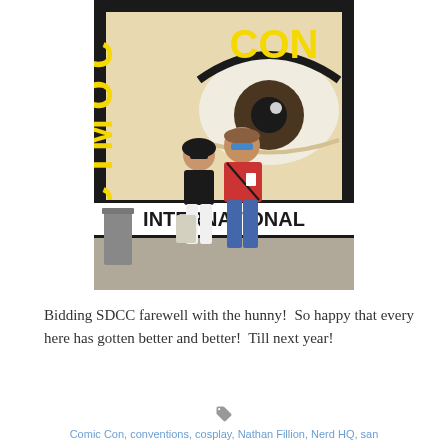[Figure (photo): Two people standing in front of a large Comic-Con International sign/banner. The sign has large yellow letters reading COMIC CON with an eye logo on a tan/beige background. The word INTERNATIONAL is visible below. One person is wearing a black top and white pants, the other a red t-shirt and jeans.]
Bidding SDCC farewell with the hunny!  So happy that every here has gotten better and better!  Till next year!
Comic Con, conventions, cosplay, Nathan Fillion, Nerd HQ, san